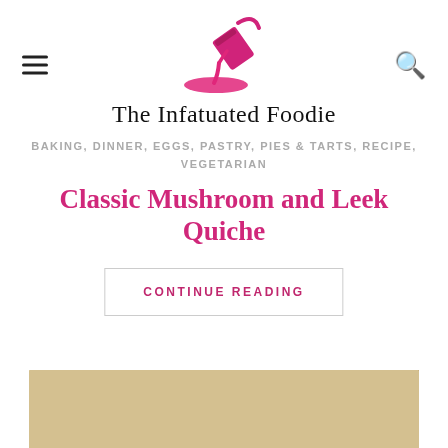[Figure (logo): The Infatuated Foodie blog logo — pink dripping paint can icon above text 'The Infatuated Foodie']
BAKING, DINNER, EGGS, PASTRY, PIES & TARTS, RECIPE, VEGETARIAN
Classic Mushroom and Leek Quiche
CONTINUE READING
[Figure (photo): Photo of a roasted whole chicken on a white plate with accompaniments]